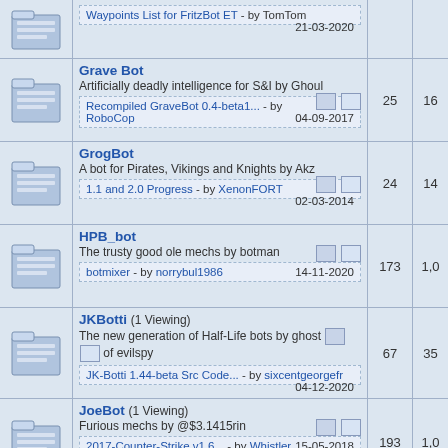| Icon | Forum | Topics | Posts |
| --- | --- | --- | --- |
| [icon] | Waypoints List for FritzBot ET - by TomTom | 21-03-2020 |  |  |
| [icon] | Grave Bot
Artificially deadly intelligence for S&I by Ghoul
Recompiled GraveBot 0.4-beta1... - by RoboCop | 04-09-2017 | 25 | 16 |
| [icon] | GrogBot
A bot for Pirates, Vikings and Knights by Akz
1.1 and 2.0 Progress - by XenonFORT | 02-03-2014 | 24 | 14 |
| [icon] | HPB_bot
The trusty good ole mechs by botman
botmixer - by norrybul1986 | 14-11-2020 | 173 | 1,0 |
| [icon] | JKBotti (1 Viewing)
The new generation of Half-Life bots by ghost of evilspy
JK-Botti 1.44-beta Src Code... - by sixcentgeorgefr | 04-12-2020 | 67 | 35 |
| [icon] | JoeBot (1 Viewing)
Furious mechs by @$3.1415rin
2017-Counter-Strike v1.6... - by Whistler | 15-05-2018 | 193 | 1,0 |
| [icon] | POD-Bot mm (4 Viewing) |  |  |